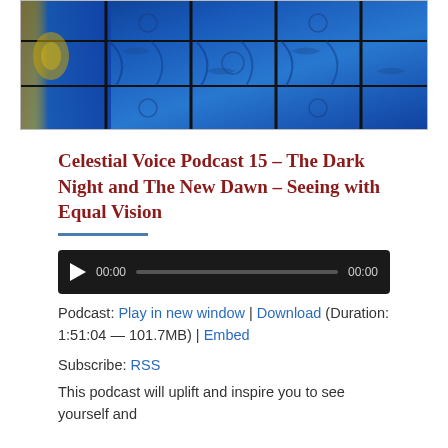[Figure (photo): Stained glass window with blue dominant colors, showing intricate floral and decorative patterns with leaded glass sections]
Celestial Voice Podcast 15 – The Dark Night and The New Dawn – Seeing with Equal Vision
[Figure (screenshot): Audio player widget with play button, time display showing 00:00, progress bar, and duration 00:00]
Podcast: Play in new window | Download (Duration: 1:51:04 — 101.7MB) | Embed
Subscribe: RSS
This podcast will uplift and inspire you to see yourself and